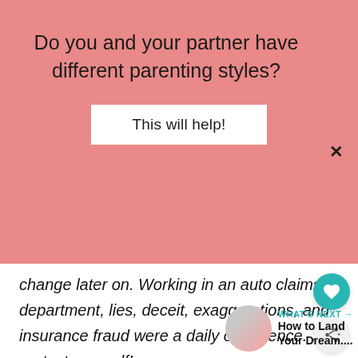Do you and your partner have different parenting styles?
This will help!
change later on. Working in an auto claims department, lies, deceit, exaggerations, and insurance fraud were a daily occurrence. So protect yourself!
[Figure (other): Heart/like icon button (teal circle with white heart)]
[Figure (other): Share icon button (light grey circle with share icon)]
WHAT'S NEXT → How to Land Your Dream....